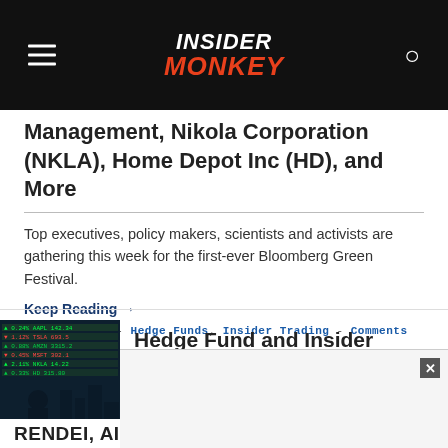Insider Monkey
Management, Nikola Corporation (NKLA), Home Depot Inc (HD), and More
Top executives, policy makers, scientists and activists are gathering this week for the first-ever Bloomberg Green Festival.
Keep Reading →
September 15 - Hedge Funds, Insider Trading - Comments
Hedge Fund and Insider Trading
RENDEI, AIGBUS INVESTMENTS,